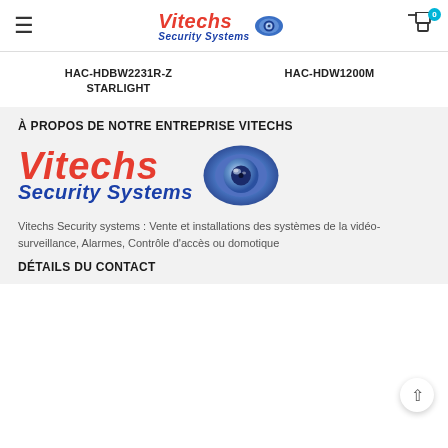Vitechs Security Systems — navigation header with hamburger menu and cart
HAC-HDBW2231R-Z STARLIGHT
HAC-HDW1200M
À PROPOS DE NOTRE ENTREPRISE VITECHS
[Figure (logo): Vitechs Security Systems logo — red italic Vitechs text, blue italic Security Systems text, blue eye-shaped camera icon]
Vitechs Security systems : Vente et installations des systèmes de la vidéo-surveillance, Alarmes, Contrôle d'accès ou domotique
DÉTAILS DU CONTACT